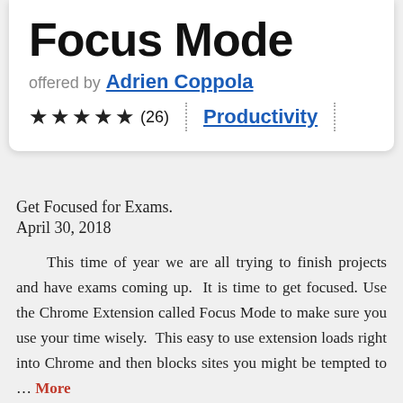Focus Mode
offered by Adrien Coppola
★★★★★ (26)  |  Productivity
Get Focused for Exams.
April 30, 2018
This time of year we are all trying to finish projects and have exams coming up.  It is time to get focused. Use the Chrome Extension called Focus Mode to make sure you use your time wisely.  This easy to use extension loads right into Chrome and then blocks sites you might be tempted to … More